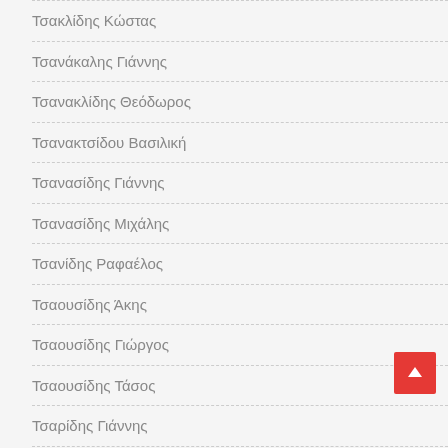Τσακλίδης Κώστας
Τσανάκαλης Γιάννης
Τσανακλίδης Θεόδωρος
Τσανακτσίδου Βασιλική
Τσανασίδης Γιάννης
Τσανασίδης Μιχάλης
Τσανίδης Ραφαέλος
Τσαουσίδης Άκης
Τσαουσίδης Γιώργος
Τσαουσίδης Τάσος
Τσαρίδης Γιάννης
Τσαρτιλίδης Γιώργος (Τσάρτιλος)
Τσαγκουσίδης Κωνσταντίνος